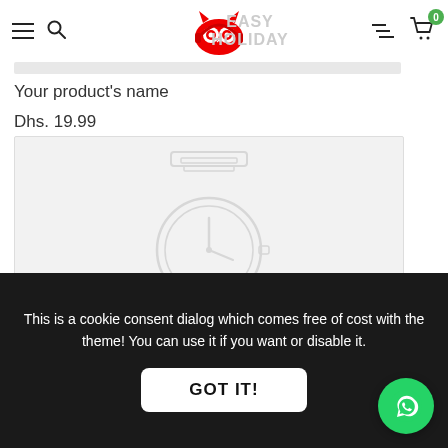Navigation bar with hamburger menu, search icon, logo, filter icon, and cart (0 items). Promo text: EASY HOLIDAY
Your product's name
Dhs. 19.99
[Figure (illustration): Product placeholder image box with a faint watch illustration in light gray]
This is a cookie consent dialog which comes free of cost with the theme! You can use it if you want or disable it.
GOT IT!